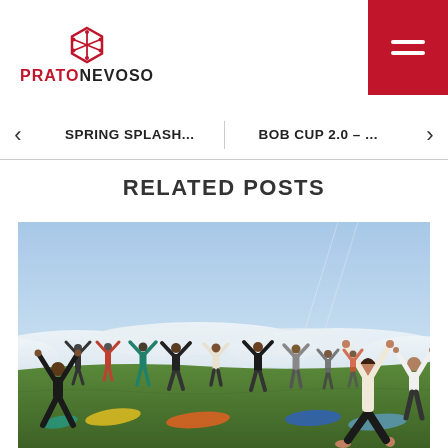[Figure (logo): Prato Nevoso logo with snowflake icon above the text PRATONEVOSO]
[Figure (other): Red hamburger menu button in top-right corner with three white horizontal lines]
SPRING SPLASH...
BOB CUP 2.0 – ...
RELATED POSTS
[Figure (photo): Outdoor yoga class on a hillside meadow with many participants doing a pose with arms raised above their heads. Blue sky with some clouds visible above a sea of clouds in the background.]